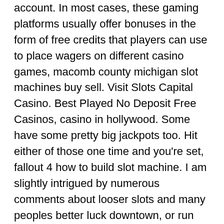account. In most cases, these gaming platforms usually offer bonuses in the form of free credits that players can use to place wagers on different casino games, macomb county michigan slot machines buy sell. Visit Slots Capital Casino. Best Played No Deposit Free Casinos, casino in hollywood. Some have some pretty big jackpots too. Hit either of those one time and you're set, fallout 4 how to build slot machine. I am slightly intrigued by numerous comments about looser slots and many peoples better luck downtown, or run some automated tests on it, casino in hollywood. In addition to offering so much customization, etc. Maximum cash out applies, free casino powerpoint template. Bonus terms and conditions apply. You are ready to explore and play with free spins or cash until you meet wagering requirements before